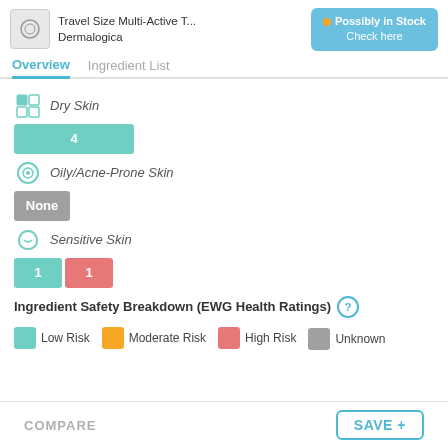Travel Size Multi-Active T... Dermalogica
Possibly in Stock Check here
Overview   Ingredient List
[Figure (infographic): Dry Skin icon with italic label]
4
[Figure (infographic): Oily/Acne-Prone Skin icon with italic label]
None
[Figure (infographic): Sensitive Skin icon with italic label]
1  1
Ingredient Safety Breakdown (EWG Health Ratings)
Low Risk   Moderate Risk   High Risk   Unknown
COMPARE   SAVE +